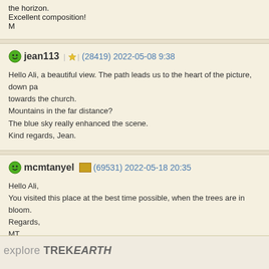the horizon.
Excellent composition!
M
jean113 | (28419) 2022-05-08 9:38
Hello Ali, a beautiful view. The path leads us to the heart of the picture, down pa towards the church.
Mountains in the far distance?
The blue sky really enhanced the scene.
Kind regards, Jean.
mcmtanyel (69531) 2022-05-18 20:35
Hello Ali,
You visited this place at the best time possible, when the trees are in bloom.
Regards,
MT
explore TREKEARTH